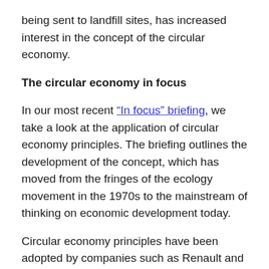being sent to landfill sites, has increased interest in the concept of the circular economy.
The circular economy in focus
In our most recent “In focus” briefing, we take a look at the application of circular economy principles. The briefing outlines the development of the concept, which has moved from the fringes of the ecology movement in the 1970s to the mainstream of thinking on economic development today.
Circular economy principles have been adopted by companies such as Renault and by early-adopting governments in Japan and Scandinavia. Last week, the European Commission adopted a new Circular Economy Package aimed at boosting competitiveness, creating jobs